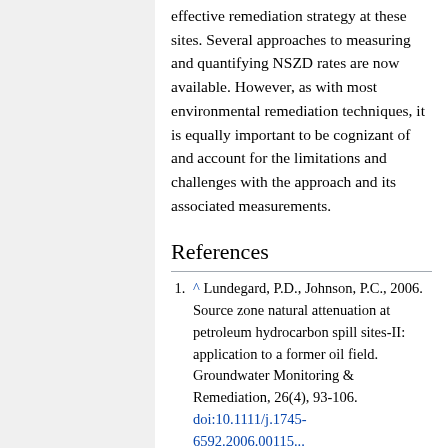effective remediation strategy at these sites. Several approaches to measuring and quantifying NSZD rates are now available. However, as with most environmental remediation techniques, it is equally important to be cognizant of and account for the limitations and challenges with the approach and its associated measurements.
References
^ Lundegard, P.D., Johnson, P.C., 2006. Source zone natural attenuation at petroleum hydrocarbon spill sites-II: application to a former oil field. Groundwater Monitoring & Remediation, 26(4), 93-106. doi:10.1111/j.1745-6592.2006.00115...